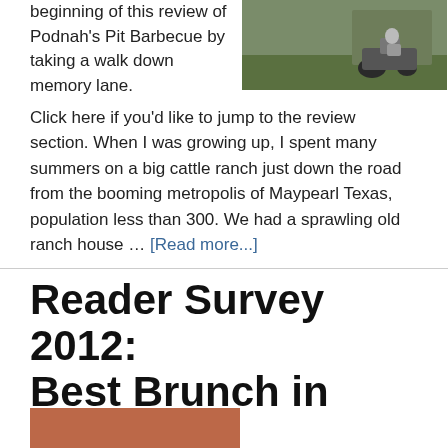beginning of this review of Podnah's Pit Barbecue by taking a walk down memory lane.
[Figure (photo): A person on a riding lawn mower or tractor on a grassy field]
Click here if you'd like to jump to the review section. When I was growing up, I spent many summers on a big cattle ranch just down the road from the booming metropolis of Maypearl Texas, population less than 300. We had a sprawling old ranch house … [Read more...]
Reader Survey 2012: Best Brunch in Portland
By PDX Food Dude Last Update March 11, 2015 — 14 Comments
[Figure (photo): Partial image visible at bottom of page, reddish/orange tones]